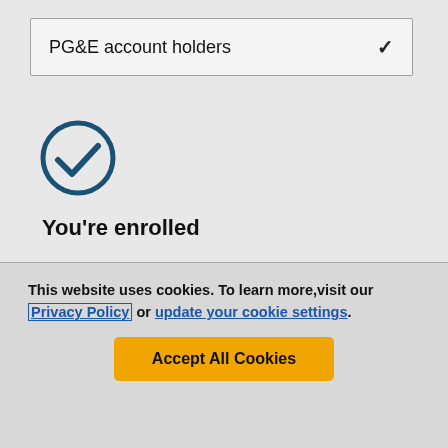PG&E account holders
[Figure (illustration): Teal/dark blue circle with a checkmark inside, indicating enrollment confirmation]
You're enrolled
If you are a PG&E account holder, you do not need to sign up for a "PSPS outage alert." If we expect your address to be impacted by a PSPS outage, we will
This website uses cookies. To learn more, visit our Privacy Policy or update your cookie settings.
Accept All Cookies